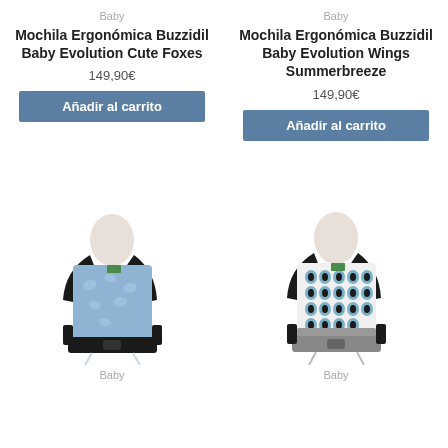Baby
Mochila Ergonómica Buzzidil Baby Evolution Cute Foxes
149,90€
Añadir al carrito
Baby
Mochila Ergonómica Buzzidil Baby Evolution Wings Summerbreeze
149,90€
Añadir al carrito
[Figure (photo): Ergonomic baby carrier in light blue with white fox pattern, shown on a mannequin torso with black shoulder straps and waist belt]
Baby
[Figure (photo): Ergonomic baby carrier in grey/white with geometric pattern and grey waist belt, shown on a mannequin torso with black shoulder straps]
Baby